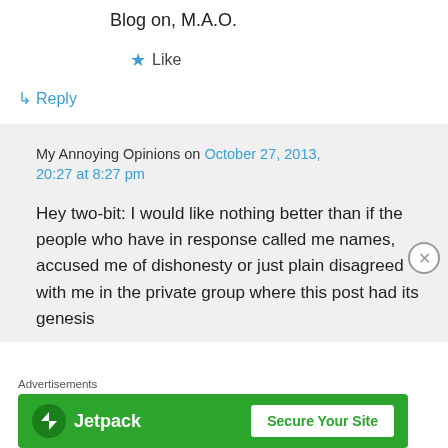Blog on, M.A.O.
★ Like
↳ Reply
My Annoying Opinions on October 27, 2013, 20:27 at 8:27 pm
Hey two-bit: I would like nothing better than if the people who have in response called me names, accused me of dishonesty or just plain disagreed with me in the private group where this post had its genesis
Advertisements
[Figure (screenshot): Jetpack advertisement banner with green background, Jetpack logo on left, and 'Secure Your Site' button on right]